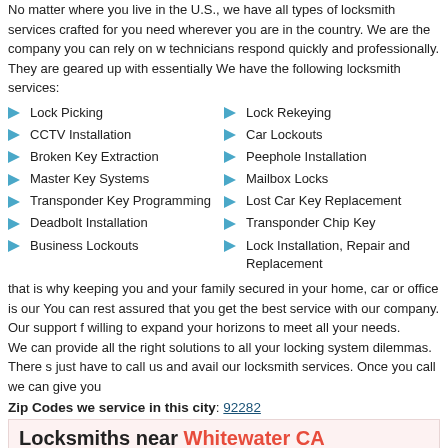No matter where you live in the U.S., we have all types of locksmith services crafted for you need wherever you are in the country. We are the company you can rely on where technicians respond quickly and professionally. They are geared up with essentially We have the following locksmith services:
Lock Picking
Lock Rekeying
CCTV Installation
Car Lockouts
Broken Key Extraction
Peephole Installation
Master Key Systems
Mailbox Locks
Transponder Key Programming
Lost Car Key Replacement
Deadbolt Installation
Transponder Chip Key
Business Lockouts
Lock Installation, Repair and Replacement
that is why keeping you and your family secured in your home, car or office is our You can rest assured that you get the best service with our company. Our support f willing to expand your horizons to meet all your needs. We can provide all the right solutions to all your locking system dilemmas. There s just have to call us and avail our locksmith services. Once you call we can give you
Zip Codes we service in this city: 92282
Locksmiths near Whitewater CA
Locksmiths in the 760 area code(same as that of Whitewater)
Locksmith Bonsall CA
Locksmith Escondido CA